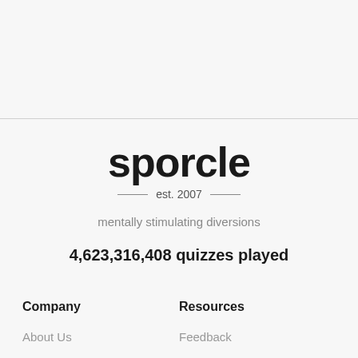sporcle
est. 2007
mentally stimulating diversions
4,623,316,408 quizzes played
Company
Resources
About Us
Feedback